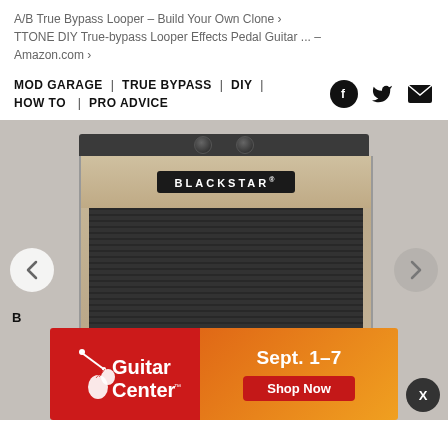A/B True Bypass Looper – Build Your Own Clone › TTONE DIY True-bypass Looper Effects Pedal Guitar ... – Amazon.com ›
MOD GARAGE | TRUE BYPASS | DIY | HOW TO | PRO ADVICE
[Figure (photo): Blackstar guitar amplifier in beige/cream tweed finish with dark speaker grille, shown in a product carousel with left/right navigation arrows. An advertisement banner for Guitar Center (Sept. 1–7, Shop Now) overlays the bottom of the image.]